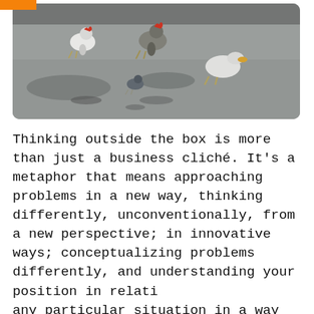[Figure (photo): Photograph of birds (chickens and a pigeon) on a grey paved surface, with dark rounded frame edges. An orange bar appears at top left corner.]
Thinking outside the box is more than just a business cliché. It's a metaphor that means approaching problems in a new way, thinking differently, unconventionally, from a new perspective; in innovative ways; conceptualizing problems differently, and understanding your position in relation to any particular situation in a way you never thought of before.